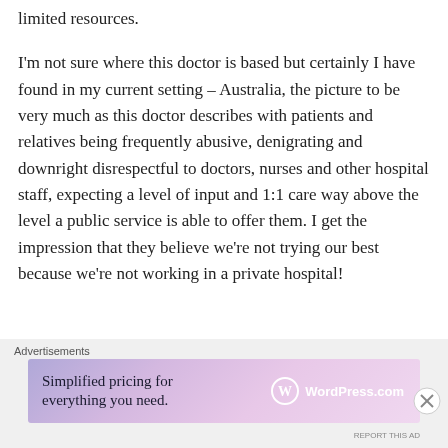limited resources.
I'm not sure where this doctor is based but certainly I have found in my current setting – Australia, the picture to be very much as this doctor describes with patients and relatives being frequently abusive, denigrating and downright disrespectful to doctors, nurses and other hospital staff, expecting a level of input and 1:1 care way above the level a public service is able to offer them. I get the impression that they believe we're not trying our best because we're not working in a private hospital!
[Figure (infographic): WordPress.com advertisement banner with gradient purple/pink background reading 'Simplified pricing for everything you need.' with WordPress.com logo]